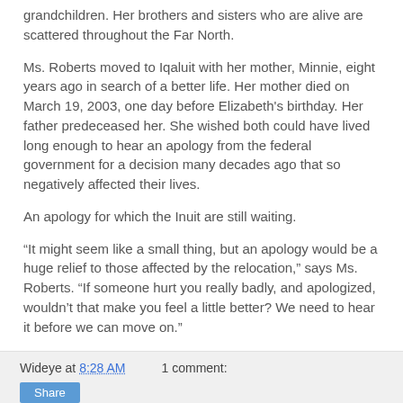grandchildren. Her brothers and sisters who are alive are scattered throughout the Far North.
Ms. Roberts moved to Iqaluit with her mother, Minnie, eight years ago in search of a better life. Her mother died on March 19, 2003, one day before Elizabeth's birthday. Her father predeceased her. She wished both could have lived long enough to hear an apology from the federal government for a decision many decades ago that so negatively affected their lives.
An apology for which the Inuit are still waiting.
“It might seem like a small thing, but an apology would be a huge relief to those affected by the relocation,” says Ms. Roberts. “If someone hurt you really badly, and apologized, wouldn’t that make you feel a little better? We need to hear it before we can move on.”
Wideye at 8:28 AM    1 comment: